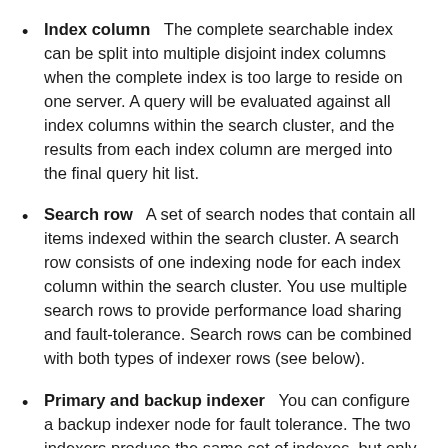Index column   The complete searchable index can be split into multiple disjoint index columns when the complete index is too large to reside on one server. A query will be evaluated against all index columns within the search cluster, and the results from each index column are merged into the final query hit list.
Search row   A set of search nodes that contain all items indexed within the search cluster. A search row consists of one indexing node for each index column within the search cluster. You use multiple search rows to provide performance load sharing and fault-tolerance. Search rows can be combined with both types of indexer rows (see below).
Primary and backup indexer   You can configure a backup indexer node for fault tolerance. The two indexers produce the same set of indexes, but only the